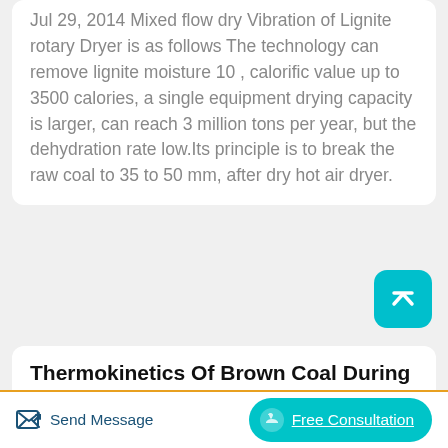Jul 29, 2014 Mixed flow dry Vibration of Lignite rotary Dryer is as follows The technology can remove lignite moisture 10 , calorific value up to 3500 calories, a single equipment drying capacity is larger, can reach 3 million tons per year, but the dehydration rate low.Its principle is to break the raw coal to 35 to 50 mm, after dry hot air dryer.
Thermokinetics Of Brown Coal During A Fluidized Drying
[Figure (illustration): Blue gradient rectangle representing an article thumbnail image]